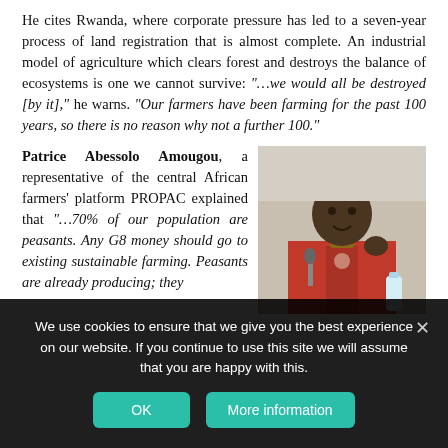He cites Rwanda, where corporate pressure has led to a seven-year process of land registration that is almost complete. An industrial model of agriculture which clears forest and destroys the balance of ecosystems is one we cannot survive: "…we would all be destroyed [by it]," he warns. "Our farmers have been farming for the past 100 years, so there is no reason why not a further 100."
Patrice Abessolo Amougou, a representative of the central African farmers' platform PROPAC explained that "…70% of our population are peasants. Any G8 money should go to existing sustainable farming. Peasants are already producing; they
[Figure (photo): Photo of Patrice Abessolo Amougou, a man in a red patterned shirt, speaking or gesturing at what appears to be a conference or meeting, with a microphone and water bottle visible.]
We use cookies to ensure that we give you the best experience on our website. If you continue to use this site we will assume that you are happy with this.